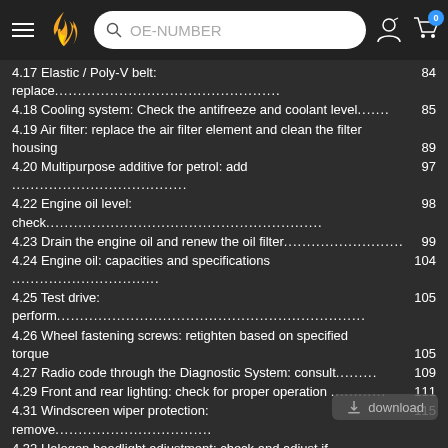OE-NUMBER search bar header with logo and cart
4.17 Elastic / Poly-V belt: replace 84
4.18 Cooling system: Check the antifreeze and coolant level 85
4.19 Air filter: replace the air filter element and clean the filter housing 89
4.20 Multipurpose additive for petrol: add 97
4.22 Engine oil level: check 98
4.23 Drain the engine oil and renew the oil filter 99
4.24 Engine oil: capacities and specifications 104
4.25 Test drive: perform 105
4.26 Wheel fastening screws: retighten based on specified torque 105
4.27 Radio code through the Diagnostic System: consult 109
4.29 Front and rear lighting: check for proper operation 111
4.31 Windscreen wiper protection: remove 115
4.32 Halogen headlight adjustment: check and adjust if necessary 120
4.33 Fog light adjustment: check and adjust if necessary 122
4.34 Service interval display: reset 124
4.35 Steering rod: check play, fastening and sealing bellows 126
4.36 Dust and pollen filter: check condition 127
4.37 Dust and pollen filter: clean the body and replace the air filter element 127
4.38 Shipping mode: deactivate 128
4.39 Transport securing devices (if existing): remove the fastening rings 128
4.40 Clock: set the time 130